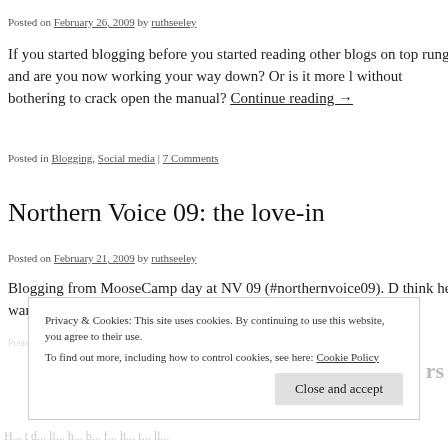Posted on February 26, 2009 by ruthseeley
If you started blogging before you started reading other blogs on top rung and are you now working your way down? Or is it more l without bothering to crack open the manual? Continue reading →
Posted in Blogging, Social media | 7 Comments
Northern Voice 09: the love-in
Posted on February 21, 2009 by ruthseeley
Blogging from MooseCamp day at NV 09 (#northernvoice09). D think he wants to. Continue reading →
Privacy & Cookies: This site uses cookies. By continuing to use this website, you agree to their use. To find out more, including how to control cookies, see here: Cookie Policy
Close and accept